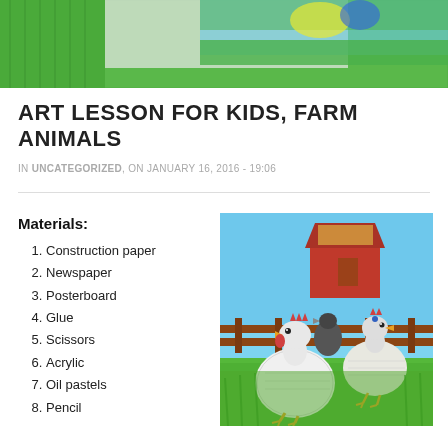[Figure (illustration): Partial view of a children's art project showing green crayon background with colorful animal art at the top of the page]
ART LESSON FOR KIDS, FARM ANIMALS
IN UNCATEGORIZED, ON JANUARY 16, 2016 - 19:06
Materials:
Construction paper
Newspaper
Posterboard
Glue
Scissors
Acrylic
Oil pastels
Pencil
[Figure (illustration): Children's mixed-media art showing farm scene with chickens made from newspaper collage, a red barn, fence, blue sky, and green grass rendered in oil pastels and acrylic]